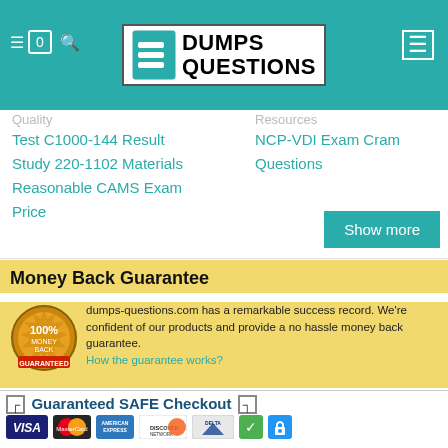[Figure (logo): DumpsQuestions logo with S icon in teal header bar]
Quality
Test C1000-144 Result
Study 220-1102 Materials
Reasonable CAMS Exam Price
Resources
NCP-VDI Exam Cram Questions
Show more
Money Back Guarantee
dumps-questions.com has a remarkable success record. We're confident of our products and provide a no hassle money back guarantee.
How the guarantee works?
[Figure (infographic): Guaranteed SAFE Checkout banner with VISA, MasterCard, American Express, Discover, Delta, checkmark, and lock icons]